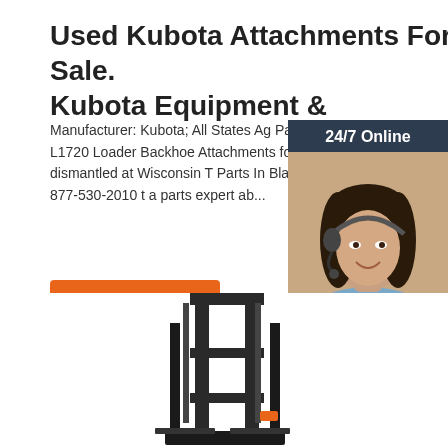Used Kubota Attachments For Sale. Kubota Equipment &
Manufacturer: Kubota; All States Ag Parts has Kubota L1720 Loader Backhoe Attachments for parts. This unit was dismantled at Wisconsin T Parts In Black Creek, WI. Call 877-530-2010 to a parts expert ab...
[Figure (other): Orange 'Get Price' button]
[Figure (other): Chat widget with '24/7 Online' header, photo of woman with headset, 'Click here for free chat!' text, and orange QUOTATION button]
[Figure (other): Partial image of a forklift (dark/black machinery) at bottom of page]